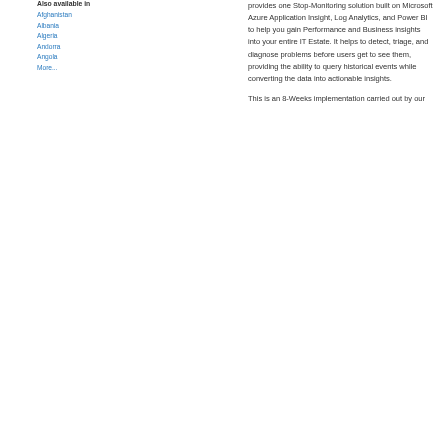Also available in
Afghanistan
Albania
Algeria
Andorra
Angola
More...
provides one Stop-Monitoring solution built on Microsoft Azure Application Insight, Log Analytics, and Power BI to help you gain Performance and Business insights into your entire IT Estate. It helps to detect, triage, and diagnose problems before users get to see them, providing the ability to query historical events while converting the data into actionable insights.
This is an 8-Weeks implementation carried out by our